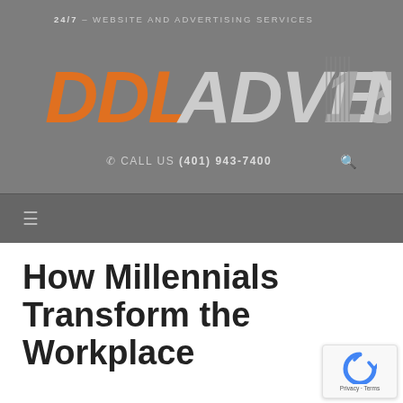24/7 – WEBSITE AND ADVERTISING SERVICES
[Figure (logo): DDL ADVERTISING 15th anniversary logo in orange and grey on grey background]
☎ CALL US (401) 943-7400
How Millennials Transform the Workplace